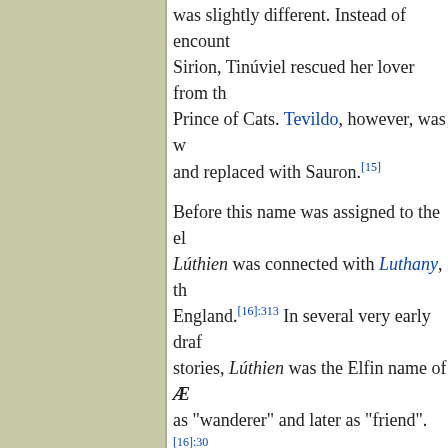was slightly different. Instead of encountering the werewolves at the Mouths of Sirion, Tinúviel rescued her lover from the dungeons of Tevildo, Prince of Cats. Tevildo, however, was written out of the stories and replaced with Sauron.[15]
Before this name was assigned to the elf, the name Lúthien was connected with Luthany, the Tolkien's name for England.[16]:313 In several very early drafts of the stories, Lúthien was the Elfin name of Ælfwine, translated as "wanderer" and later as "friend".[16]:30
[edit] See also
Song of Beren and Lúthien
References
↑ 1.0 1.1 1.2 1.3 1.4 J.R.R. Tolkien, Christopher Tolkien (ed.), The Silmarillion, "Quenta Silmarillion: Of Beren...
↑ J.R.R. Tolkien, Christopher Tolkien (ed.), "The Grey Annals": §17
↑ J.R.R. Tolkien, Christopher Tolkien (ed.), The Silmarillion: Of the Fifth Battle: Nirnaeth Ar...